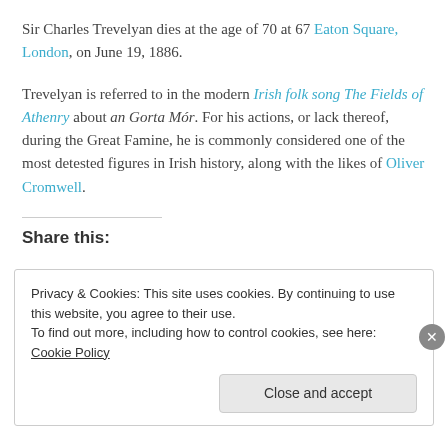Sir Charles Trevelyan dies at the age of 70 at 67 Eaton Square, London, on June 19, 1886.
Trevelyan is referred to in the modern Irish folk song The Fields of Athenry about an Gorta Mór. For his actions, or lack thereof, during the Great Famine, he is commonly considered one of the most detested figures in Irish history, along with the likes of Oliver Cromwell.
Share this:
Privacy & Cookies: This site uses cookies. By continuing to use this website, you agree to their use.
To find out more, including how to control cookies, see here: Cookie Policy